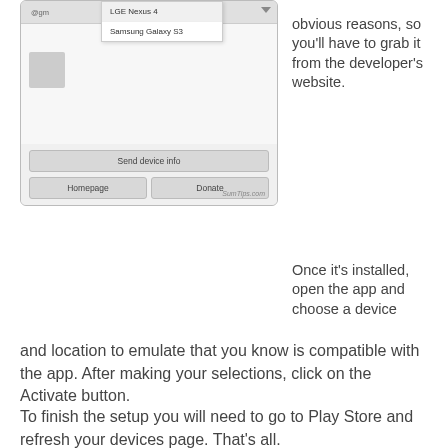[Figure (screenshot): Screenshot of a device info app showing a dropdown menu with LGE Nexus 4 and Samsung Galaxy S3 options, along with Send device info, Homepage, and Donate buttons. Watermark reads SumTips.com]
obvious reasons, so you’ll have to grab it from the developer’s website.
Once it’s installed, open the app and choose a device and location to emulate that you know is compatible with the app. After making your selections, click on the Activate button.
To finish the setup you will need to go to Play Store and refresh your devices page. That’s all.